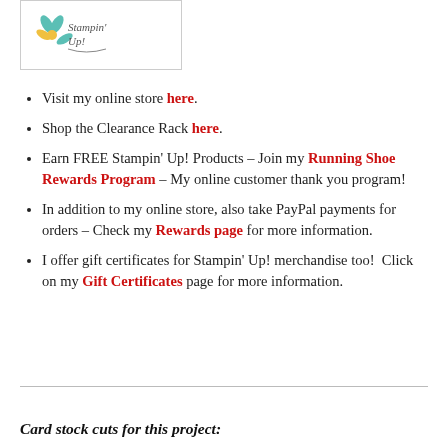[Figure (logo): Stampin' Up! decorative logo with floral elements in teal and yellow]
Visit my online store here.
Shop the Clearance Rack here.
Earn FREE Stampin' Up! Products – Join my Running Shoe Rewards Program – My online customer thank you program!
In addition to my online store, also take PayPal payments for orders – Check my Rewards page for more information.
I offer gift certificates for Stampin' Up! merchandise too!  Click on my Gift Certificates page for more information.
Card stock cuts for this project: